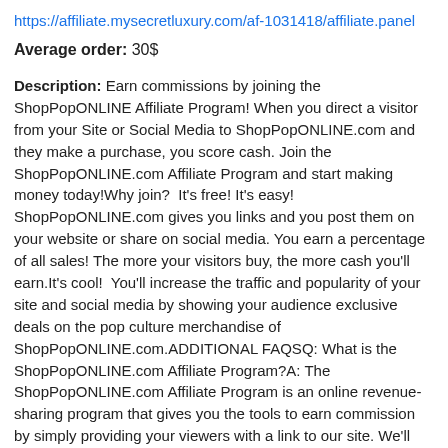https://affiliate.mysecretluxury.com/af-1031418/affiliate.panel
Average order: 30$
Description: Earn commissions by joining the ShopPopONLINE Affiliate Program! When you direct a visitor from your Site or Social Media to ShopPopONLINE.com and they make a purchase, you score cash. Join the ShopPopONLINE.com Affiliate Program and start making money today!Why join?  It's free! It's easy!  ShopPopONLINE.com gives you links and you post them on your website or share on social media. You earn a percentage of all sales! The more your visitors buy, the more cash you'll earn.It's cool!  You'll increase the traffic and popularity of your site and social media by showing your audience exclusive deals on the pop culture merchandise of ShopPopONLINE.com.ADDITIONAL FAQSQ: What is the ShopPopONLINE.com Affiliate Program?A: The ShopPopONLINE.com Affiliate Program is an online revenue-sharing program that gives you the tools to earn commission by simply providing your viewers with a link to our site. We'll provide you with text links that you cut and paste into your site or social media. It takes seconds to add your links, even for newbies. ShopPopONLINE.com takes care of fulfilling all the orders, processing payment, and fielding customer service issues. You